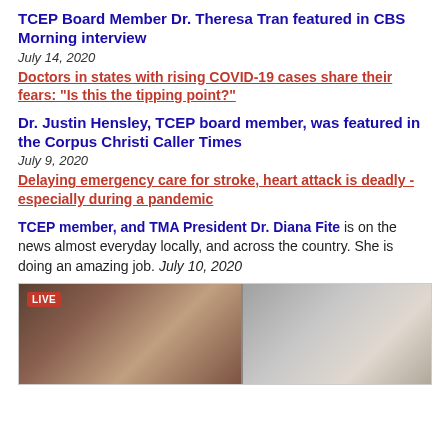TCEP Board Member Dr. Theresa Tran featured in CBS Morning interview
July 14, 2020
Doctors in states with rising COVID-19 cases share their fears: "Is this the tipping point?"
Dr. Justin Hensley, TCEP board member, was featured in the Corpus Christi Caller Times
July 9, 2020
Delaying emergency care for stroke, heart attack is deadly - especially during a pandemic
TCEP member, and TMA President Dr. Diana Fite is on the news almost everyday locally, and across the country. She is doing an amazing job. July 10, 2020
[Figure (photo): TV screenshot showing a LIVE broadcast with two individuals visible, a woman on the left and another person on the right, with a red LIVE badge in the top left corner]